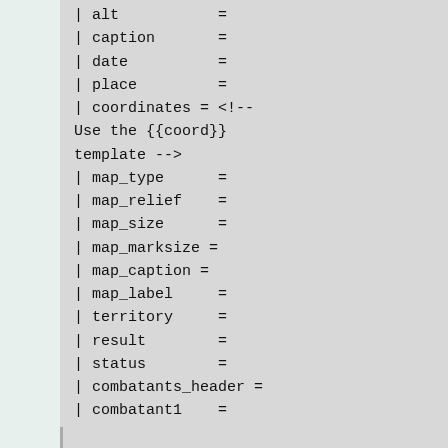| alt           =
| caption       =
| date          =
| place         =
| coordinates = <!--
Use the {{coord}}
template -->
| map_type      =
| map_relief    =
| map_size      =
| map_marksize =
| map_caption =
| map_label     =
| territory     =
| result        =
| status        =
| combatants_header =
| combatant1    =